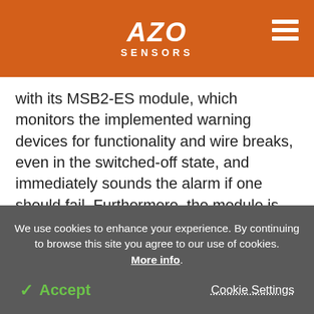AZO SENSORS
with its MSB2-ES module, which monitors the implemented warning devices for functionality and wire breaks, even in the switched-off state, and immediately sounds the alarm if one should fail. Furthermore, the module is connected to the safe SIL2 bus in the system.
ES for Ventilation - Another topic of actuator technology is ventilation control systems. These are
We use cookies to enhance your experience. By continuing to browse this site you agree to our use of cookies. More info.
✓ Accept    Cookie Settings